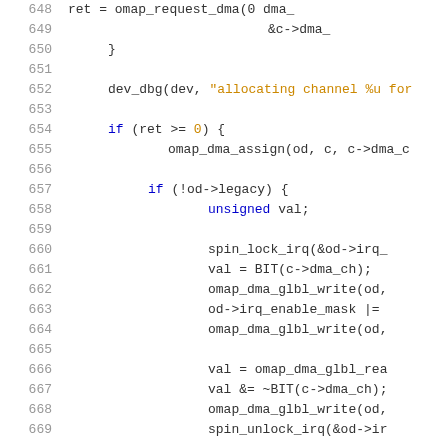[Figure (screenshot): Source code snippet showing lines 648-669 of a C file with syntax highlighting. Line numbers in gray on left, code with colored keywords (blue for reserved words, orange/gold for string literals), monospace font on white background.]